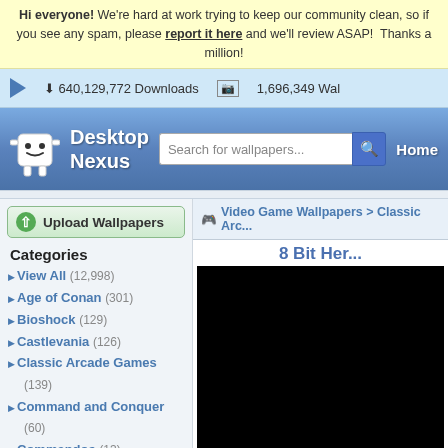Hi everyone! We're hard at work trying to keep our community clean, so if you see any spam, please report it here and we'll review ASAP! Thanks a million!
640,129,772 Downloads  1,696,349 Wallpapers
[Figure (screenshot): Desktop Nexus logo with robot mascot, search bar, and Home navigation]
[Figure (screenshot): Upload Wallpapers button and Video Game Wallpapers > Classic Arcade Games breadcrumb]
Categories
View All (12,998)
Age of Conan (301)
Bioshock (129)
Castlevania (126)
Classic Arcade Games (139)
Command and Conquer (60)
Commandos (13)
Counter Strike (109)
Crazy Taxi (14)
Crysis (189)
Deus Ex (62)
Doom (37)
Everquest (55)
8 Bit Heroes wallpaper
[Figure (photo): Black wallpaper preview showing '8 BIT HE...' text in white pixel font at bottom right]